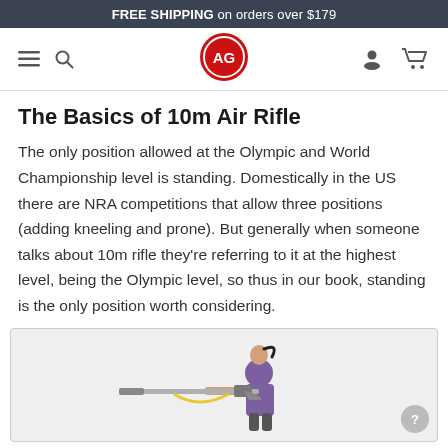FREE SHIPPING on orders over $179
[Figure (logo): AG logo: red circle with white AG letters inside, navigation bar with hamburger menu, search icon, user icon, and cart icon]
The Basics of 10m Air Rifle
The only position allowed at the Olympic and World Championship level is standing. Domestically in the US there are NRA competitions that allow three positions (adding kneeling and prone). But generally when someone talks about 10m rifle they're referring to it at the highest level, being the Olympic level, so thus in our book, standing is the only position worth considering.
[Figure (photo): A female shooter in a purple outfit aiming an air rifle from the standing position]